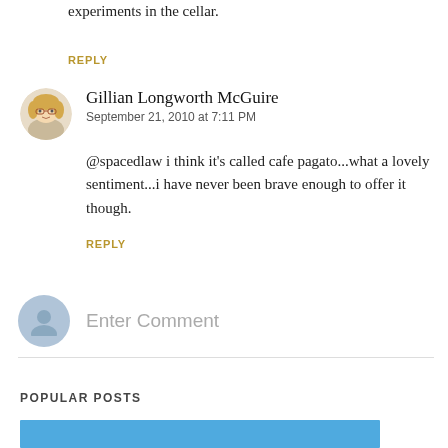experiments in the cellar.
REPLY
Gillian Longworth McGuire
September 21, 2010 at 7:11 PM
@spacedlaw i think it's called cafe pagato...what a lovely sentiment...i have never been brave enough to offer it though.
REPLY
Enter Comment
POPULAR POSTS